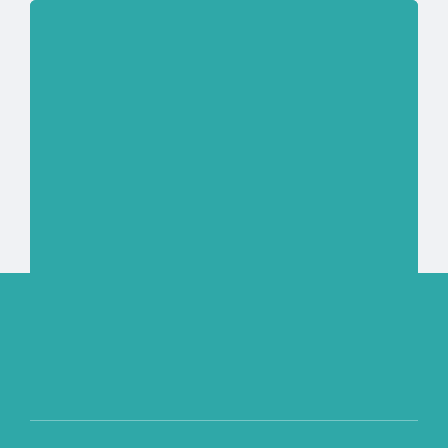[Figure (other): A teal/turquoise card widget with a large teal upper area, a thin horizontal dividing line, and a lower section containing the text NEWS and READ MORE with a right-pointing arrow. Below the card is a light gray background area, and at the bottom of the page is a teal banner strip.]
NEWS
READ MORE ▶